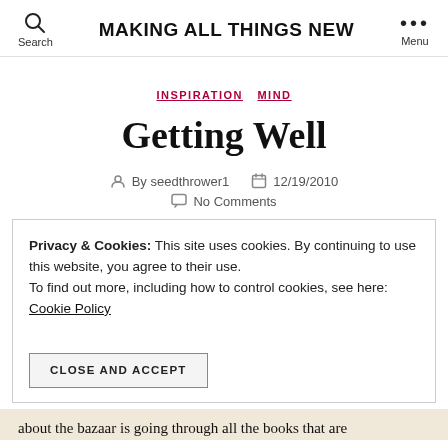Search  MAKING ALL THINGS NEW  Menu
INSPIRATION  MIND
Getting Well
By seedthrower1  12/19/2010  No Comments
Privacy & Cookies: This site uses cookies. By continuing to use this website, you agree to their use. To find out more, including how to control cookies, see here: Cookie Policy
CLOSE AND ACCEPT
about the bazaar is going through all the books that are